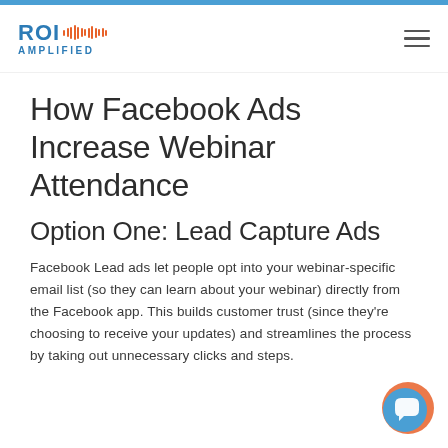ROI AMPLIFIED
How Facebook Ads Increase Webinar Attendance
Option One: Lead Capture Ads
Facebook Lead ads let people opt into your webinar-specific email list (so they can learn about your webinar) directly from the Facebook app. This builds customer trust (since they’re choosing to receive your updates) and streamlines the process by taking out unnecessary clicks and steps.